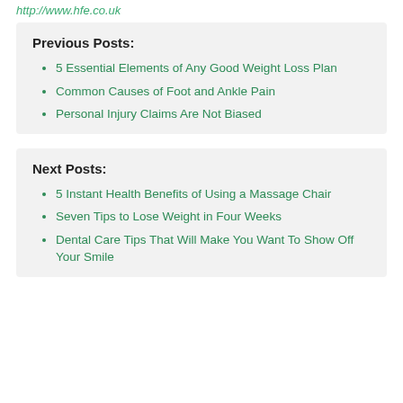http://www.hfe.co.uk
Previous Posts:
5 Essential Elements of Any Good Weight Loss Plan
Common Causes of Foot and Ankle Pain
Personal Injury Claims Are Not Biased
Next Posts:
5 Instant Health Benefits of Using a Massage Chair
Seven Tips to Lose Weight in Four Weeks
Dental Care Tips That Will Make You Want To Show Off Your Smile